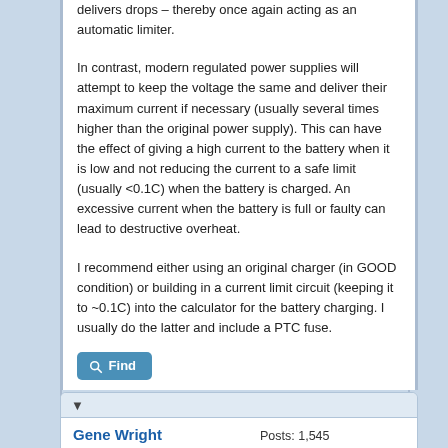delivers drops – thereby once again acting as an automatic limiter.
In contrast, modern regulated power supplies will attempt to keep the voltage the same and deliver their maximum current if necessary (usually several times higher than the original power supply). This can have the effect of giving a high current to the battery when it is low and not reducing the current to a safe limit (usually <0.1C) when the battery is charged. An excessive current when the battery is full or faulty can lead to destructive overheat.
I recommend either using an original charger (in GOOD condition) or building in a current limit circuit (keeping it to ~0.1C) into the calculator for the battery charging. I usually do the latter and include a PTC fuse.
[Figure (other): Find button (search icon with magnifying glass)]
Gene Wright
Posting Freak
Posts: 1,545
Threads: 168
Joined: Jul 2005